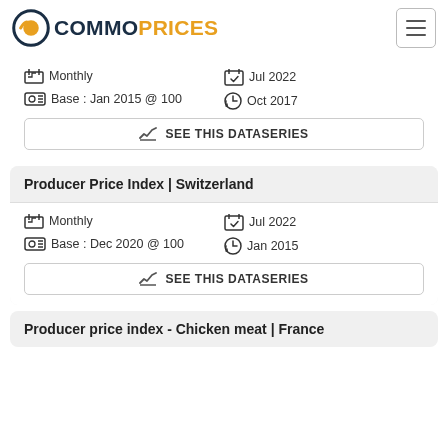COMMOPRICES
Monthly | Jul 2022 | Base : Jan 2015 @ 100 | Oct 2017
SEE THIS DATASERIES
Producer Price Index | Switzerland
Monthly | Jul 2022 | Base : Dec 2020 @ 100 | Jan 2015
SEE THIS DATASERIES
Producer price index - Chicken meat | France